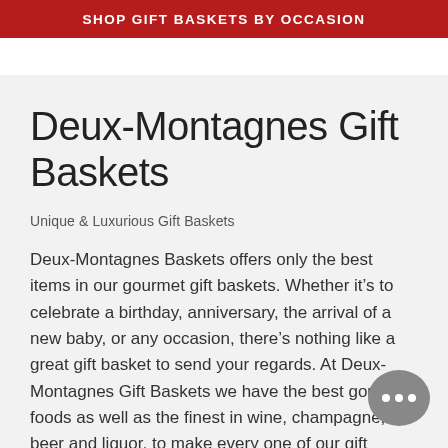SHOP GIFT BASKETS BY OCCASION
Deux-Montagnes Gift Baskets
Unique & Luxurious Gift Baskets
Deux-Montagnes Baskets offers only the best items in our gourmet gift baskets. Whether it’s to celebrate a birthday, anniversary, the arrival of a new baby, or any occasion, there’s nothing like a great gift basket to send your regards. At Deux-Montagnes Gift Baskets we have the best gourmet foods as well as the finest in wine, champagne, beer and liquor, to make every one of our gift baskets a true delight.